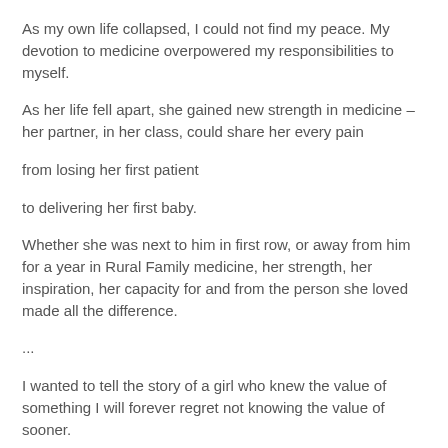As my own life collapsed, I could not find my peace. My devotion to medicine overpowered my responsibilities to myself.
As her life fell apart, she gained new strength in medicine – her partner, in her class, could share her every pain
from losing her first patient
to delivering her first baby.
Whether she was next to him in first row, or away from him for a year in Rural Family medicine, her strength, her inspiration, her capacity for and from the person she loved made all the difference.
...
I wanted to tell the story of a girl who knew the value of something I will forever regret not knowing the value of sooner.